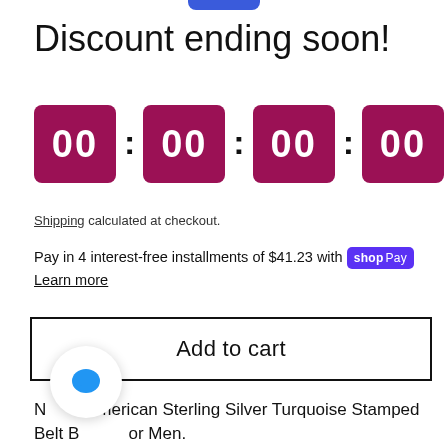[Figure (other): Blue rounded rectangle button partially visible at top center]
Discount ending soon!
[Figure (other): Countdown timer with four dark red/maroon boxes each showing '00', separated by colons]
Shipping calculated at checkout.
Pay in 4 interest-free installments of $41.23 with shop Pay
Learn more
Add to cart
Native American Sterling Silver Turquoise Stamped Belt Buckle for Men.
[Figure (other): Chat bubble icon with blue speech bubble on white circular background]